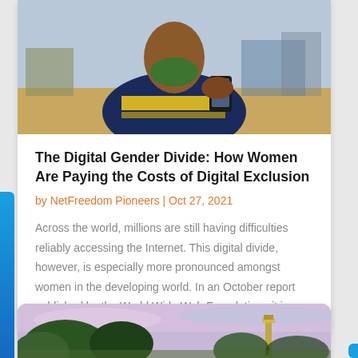[Figure (photo): Photo of a person in a blue and yellow jacket holding a smartphone outdoors in an African street setting]
The Digital Gender Divide: How Women Are Paying the Costs of Digital Exclusion
by NetFreedom Pioneers | Oct 27, 2021
Across the world, millions are still having difficulties reliably accessing the Internet. This digital divide, however, is especially more pronounced amongst women in the developing world. In an October report published by the World Wide Web Foundation , it is…
[Figure (photo): Partial photo showing trees and a building silhouette against a pink and blue sunset sky]